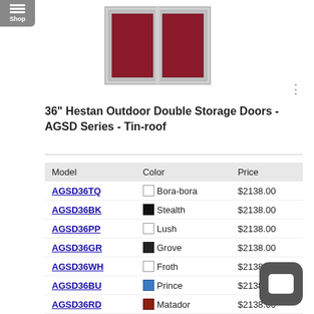[Figure (photo): 36 inch Hestan Outdoor Double Storage Doors with dark red/maroon panels and white frame]
36" Hestan Outdoor Double Storage Doors - AGSD Series - Tin-roof
| Model | Color | Price |
| --- | --- | --- |
| AGSD36TQ | Bora-bora | $2138.00 |
| AGSD36BK | Stealth | $2138.00 |
| AGSD36PP | Lush | $2138.00 |
| AGSD36GR | Grove | $2138.00 |
| AGSD36WH | Froth | $2138.00 |
| AGSD36BU | Prince | $2138.00 |
| AGSD36RD | Matador | $2138.00 |
| AGSD36BG | Tin-roof | $2138.00 |
| AGSD36OR | Citra | $2138.00 |
| AGSD36YW | Sol | $2138.00 |
| ... | Pacific | ... |